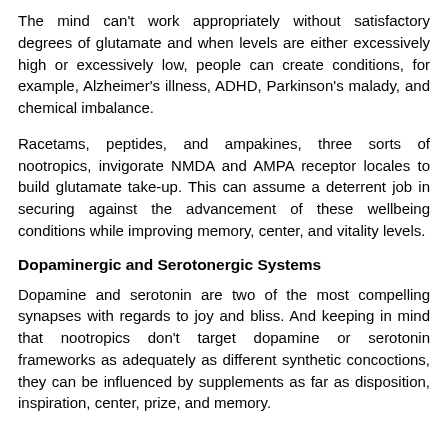The mind can't work appropriately without satisfactory degrees of glutamate and when levels are either excessively high or excessively low, people can create conditions, for example, Alzheimer's illness, ADHD, Parkinson's malady, and chemical imbalance.
Racetams, peptides, and ampakines, three sorts of nootropics, invigorate NMDA and AMPA receptor locales to build glutamate take-up. This can assume a deterrent job in securing against the advancement of these wellbeing conditions while improving memory, center, and vitality levels.
Dopaminergic and Serotonergic Systems
Dopamine and serotonin are two of the most compelling synapses with regards to joy and bliss. And keeping in mind that nootropics don't target dopamine or serotonin frameworks as adequately as different synthetic concoctions, they can be influenced by supplements as far as disposition, inspiration, center, prize, and memory.